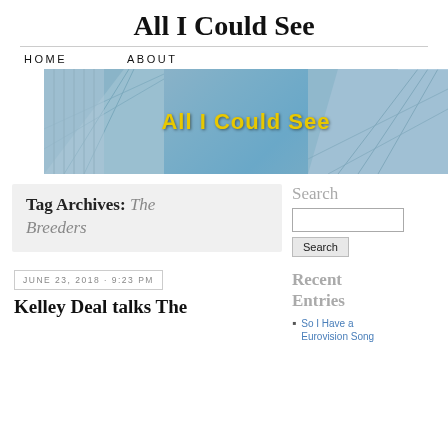All I Could See
HOME   ABOUT
[Figure (illustration): Blog header banner image showing buildings from below against a blue sky, with yellow bold text 'All I Could See' overlaid in the center]
Tag Archives: The Breeders
JUNE 23, 2018 · 9:23 PM
Kelley Deal talks The
Search
Search
Recent Entries
So I Have a Eurovision Song